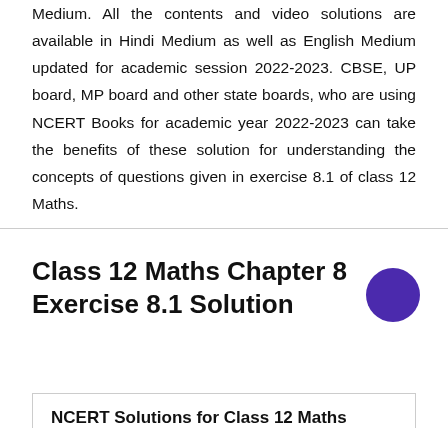Medium. All the contents and video solutions are available in Hindi Medium as well as English Medium updated for academic session 2022-2023. CBSE, UP board, MP board and other state boards, who are using NCERT Books for academic year 2022-2023 can take the benefits of these solution for understanding the concepts of questions given in exercise 8.1 of class 12 Maths.
Class 12 Maths Chapter 8 Exercise 8.1 Solution
NCERT Solutions for Class 12 Maths